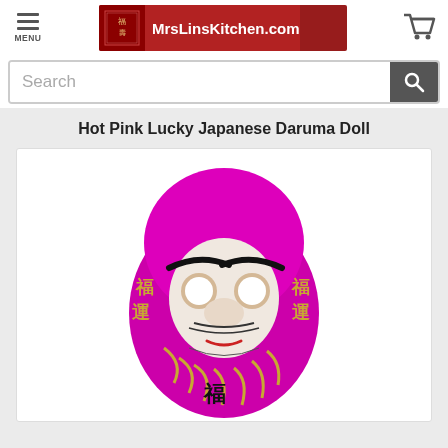MrsLinsKitchen.com
Search
Hot Pink Lucky Japanese Daruma Doll
[Figure (photo): Hot Pink / Magenta Japanese Daruma doll with traditional face painting — large eyebrows, white eye circles, red mouth, and gold Japanese calligraphy characters on the body against a bright magenta/hot-pink background]